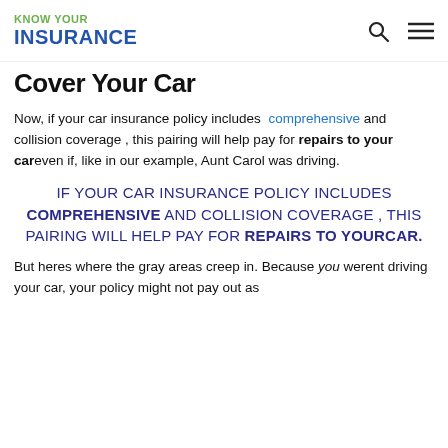KNOW YOUR INSURANCE
Cover Your Car
Now, if your car insurance policy includes comprehensive and collision coverage , this pairing will help pay for repairs to yourcar even if, like in our example, Aunt Carol was driving.
IF YOUR CAR INSURANCE POLICY INCLUDES COMPREHENSIVE AND COLLISION COVERAGE , THIS PAIRING WILL HELP PAY FOR REPAIRS TO YOURCAR.
But heres where the gray areas creep in. Because you werent driving your car, your policy might not pay out as